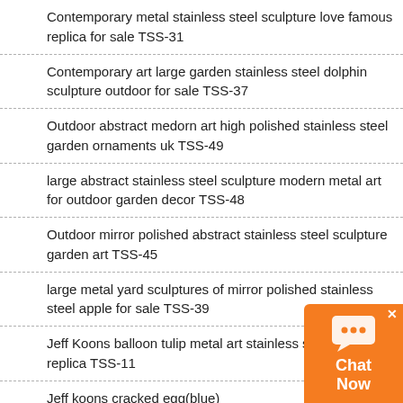Contemporary metal stainless steel sculpture love famous replica for sale TSS-31
Contemporary art large garden stainless steel dolphin sculpture outdoor for sale TSS-37
Outdoor abstract medorn art high polished stainless steel garden ornaments uk TSS-49
large abstract stainless steel sculpture modern metal art for outdoor garden decor TSS-48
Outdoor mirror polished abstract stainless steel sculpture garden art TSS-45
large metal yard sculptures of mirror polished stainless steel apple for sale TSS-39
Jeff Koons balloon tulip metal art stainless steel sculpture replica TSS-11
Jeff koons cracked egg(blue) contemporary metal artworks replicas TSS-9
Huge Metal Water Fountain Sculpture for Pool Supplier CSS…
Metal Fountain Outdoor Water Feature for Sale CSS-835
Abstract Stainless Steel Tree Sculpture Outdoor Decor for Sale